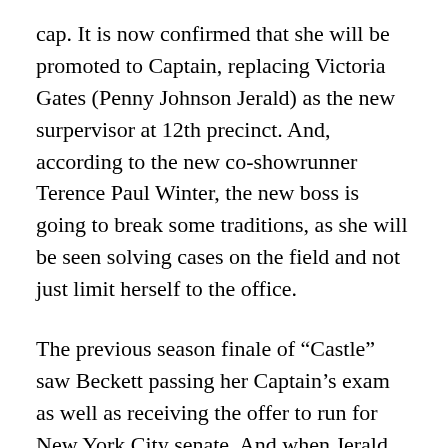cap. It is now confirmed that she will be promoted to Captain, replacing Victoria Gates (Penny Johnson Jerald) as the new surpervisor at 12th precinct. And, according to the new co-showrunner Terence Paul Winter, the new boss is going to break some traditions, as she will be seen solving cases on the field and not just limit herself to the office.
The previous season finale of “Castle” saw Beckett passing her Captain’s exam as well as receiving the offer to run for New York City senate. And when Jerald took to Twitter in May to announce that she would not be returning to reprise her role as Captain Gates, it was very much expected that Katic’s character will be declining the offer to run for senate and will be stepping into the Captain’s